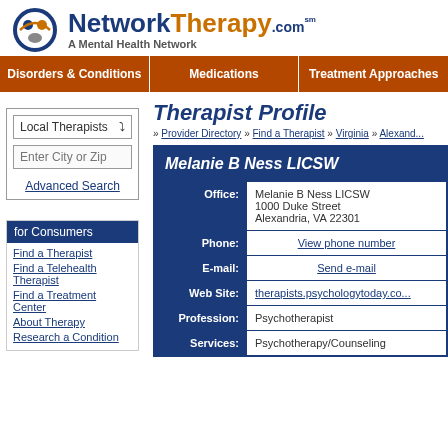[Figure (logo): NetworkTherapy.com logo with circular icon showing people figures, tagline 'A Mental Health Network']
Disorders & Conditions | Medications | Treatment Approaches
Therapist Profile
» Provider Directory » Find a Therapist » Virginia » Alexandria
Local Therapists dropdown, Enter City or Zip input, Advanced Search link
for Consumers
Find a Therapist
Find a Telehealth Therapist
Find a Treatment Center
About Therapy
Research a Condition
| Field | Value |
| --- | --- |
| Office: | Melanie B Ness LICSW
1000 Duke Street
Alexandria, VA 22301 |
| Phone: | View phone number |
| E-mail: | Send e-mail |
| Web Site: | therapists.psychologytoday.co... |
| Profession: | Psychotherapist |
| Services: | Psychotherapy/Counseling |